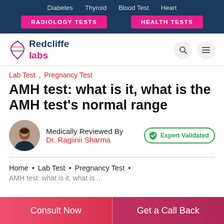Diabetes  Thyroid  Blood Test  Heart  RADIOLOGY TESTS  HEALTH TESTS
[Figure (logo): Redcliffe Labs logo with DNA helix icon]
Lab Test , Pregnancy Test
AMH test: what is it, what is the AMH test's normal range
Medically Reviewed By
Dr. Ragiinii Sharma
Expert Validated
Home • Lab Test • Pregnancy Test •
AMH test: what is it, what is ...
Consult Now  Get a Call Back